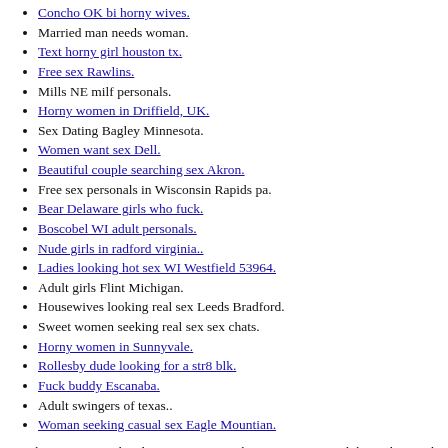Concho OK bi horny wives.
Married man needs woman.
Text horny girl houston tx.
Free sex Rawlins.
Mills NE milf personals.
Horny women in Driffield, UK.
Sex Dating Bagley Minnesota.
Women want sex Dell.
Beautiful couple searching sex Akron.
Free sex personals in Wisconsin Rapids pa.
Bear Delaware girls who fuck.
Boscobel WI adult personals.
Nude girls in radford virginia..
Ladies looking hot sex WI Westfield 53964.
Adult girls Flint Michigan.
Housewives looking real sex Leeds Bradford.
Sweet women seeking real sex sex chats.
Horny women in Sunnyvale.
Rollesby dude looking for a str8 blk.
Fuck buddy Escanaba.
Adult swingers of texas..
Woman seeking casual sex Eagle Mountian.
Single Men In Morehead City, NC Are Looking To Have An Adult Hookup With Local Girls In Their Area.